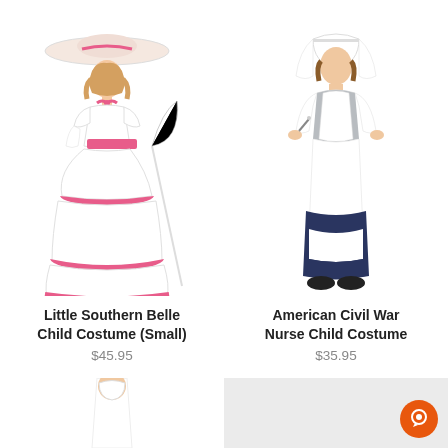[Figure (photo): Girl in Little Southern Belle costume: white dress with pink ruffled trim layers, pink sash, pink bow at neck, white wide-brim hat with pink ribbon, white gloves, holding a white parasol]
Little Southern Belle Child Costume (Small)
$45.95
[Figure (photo): Girl in American Civil War Nurse costume: long white apron dress over dark navy skirt, grey bodice with white collar, white nurse cap/veil, holding medical items]
American Civil War Nurse Child Costume
$35.95
[Figure (photo): Partial bottom view of two additional child costumes visible at bottom of page]
[Figure (other): Orange chat support button in bottom right corner]